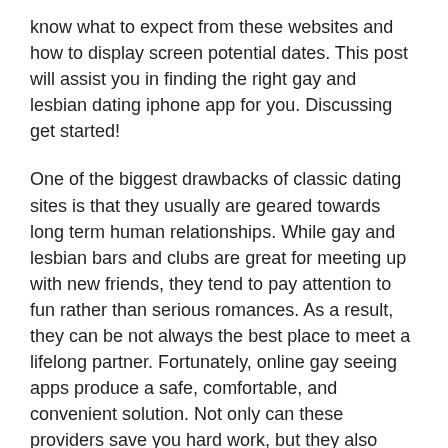know what to expect from these websites and how to display screen potential dates. This post will assist you in finding the right gay and lesbian dating iphone app for you. Discussing get started!
One of the biggest drawbacks of classic dating sites is that they usually are geared towards long term human relationships. While gay and lesbian bars and clubs are great for meeting up with new friends, they tend to pay attention to fun rather than serious romances. As a result, they can be not always the best place to meet a lifelong partner. Fortunately, online gay seeing apps produce a safe, comfortable, and convenient solution. Not only can these providers save you hard work, but they also assist you to find somebody who shares your values and interests.
Another good thing about online homosexual dating